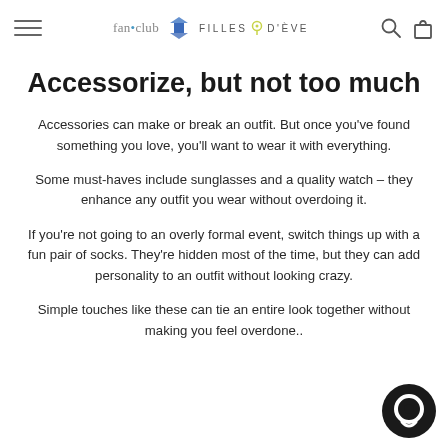fan•club [logo] FILLES D'ÈVE
Accessorize, but not too much
Accessories can make or break an outfit. But once you've found something you love, you'll want to wear it with everything.
Some must-haves include sunglasses and a quality watch – they enhance any outfit you wear without overdoing it.
If you're not going to an overly formal event, switch things up with a fun pair of socks. They're hidden most of the time, but they can add personality to an outfit without looking crazy.
Simple touches like these can tie an entire look together without making you feel overdone..